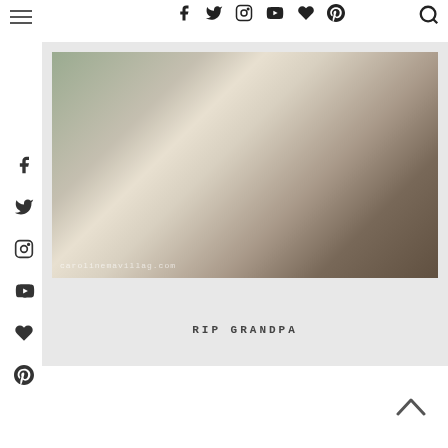Navigation bar with hamburger menu and social icons
[Figure (photo): Young woman at what appears to be Hong Kong Disneyland, making a peace sign gesture, smiling, wearing white long-sleeve top and dark skirt with a pink bag, surrounded by crowds. Watermark reads carolinemavillag.com]
RIP GRANDPA